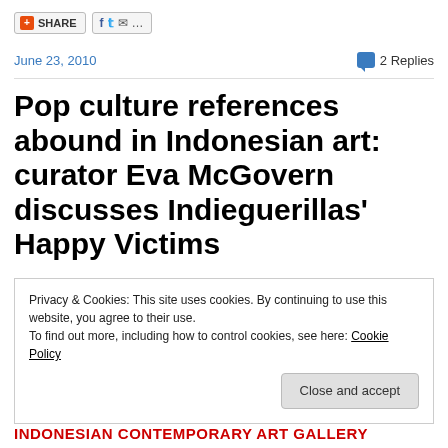[Figure (screenshot): Share bar with orange share button and social icons for Facebook, Twitter, email]
June 23, 2010
2 Replies
Pop culture references abound in Indonesian art: curator Eva McGovern discusses Indieguerillas' Happy Victims
Privacy & Cookies: This site uses cookies. By continuing to use this website, you agree to their use.
To find out more, including how to control cookies, see here: Cookie Policy
Close and accept
INDONESIAN CONTEMPORARY ART GALLERY